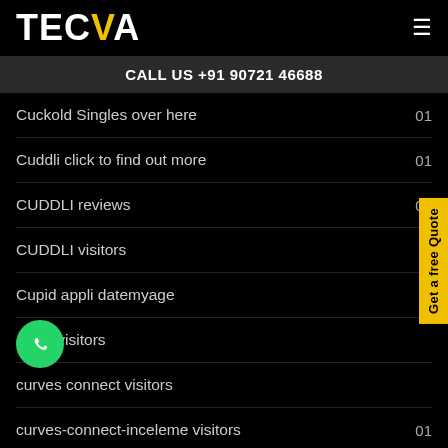TECVA
CALL US +91 90721 46688
Cuckold Singles over here  01
Cuddli click to find out more  01
CUDDLI reviews  01
CUDDLI visitors
Cupid appli datemyage
cupid visitors
curves connect visitors
curves-connect-inceleme visitors  01
curves-connect-overzicht Review  01